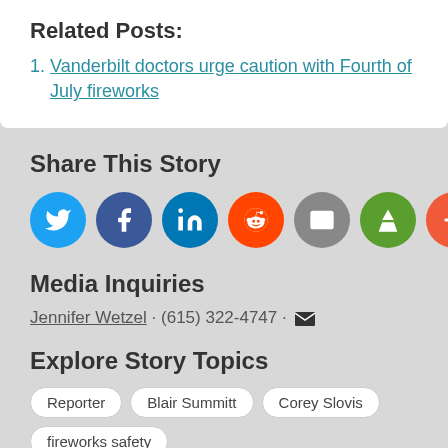Related Posts:
Vanderbilt doctors urge caution with Fourth of July fireworks
Share This Story
[Figure (infographic): Social share buttons: Twitter (blue), Facebook (dark blue), LinkedIn (blue), Reddit (orange), Email (gray), Print (green), More/Plus (orange-red)]
Media Inquiries
Jennifer Wetzel · (615) 322-4747 · [email icon]
Explore Story Topics
Reporter   Blair Summitt   Corey Slovis   fireworks safety